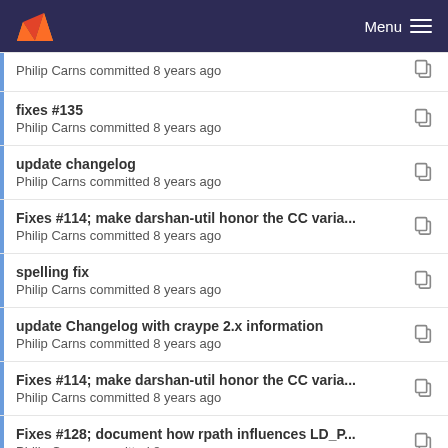GitLab — Menu
Philip Carns committed 8 years ago
fixes #135
Philip Carns committed 8 years ago
update changelog
Philip Carns committed 8 years ago
Fixes #114; make darshan-util honor the CC varia...
Philip Carns committed 8 years ago
spelling fix
Philip Carns committed 8 years ago
update Changelog with craype 2.x information
Philip Carns committed 8 years ago
Fixes #114; make darshan-util honor the CC varia...
Philip Carns committed 8 years ago
Fixes #128; document how rpath influences LD_P...
Philip Carns committed 8 years ago